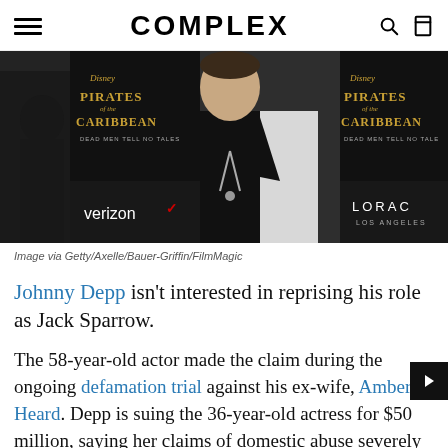COMPLEX
[Figure (photo): Johnny Depp at the Pirates of the Caribbean: Dead Men Tell No Tales premiere, wearing a white tuxedo jacket with black lapels and chain necklace, with Verizon and LORAC Los Angeles branding visible on the backdrop]
Image via Getty/Axelle/Bauer-Griffin/FilmMagic
Johnny Depp isn't interested in reprising his role as Jack Sparrow.
The 58-year-old actor made the claim during the ongoing defamation trial against his ex-wife, Amber Heard. Depp is suing the 36-year-old actress for $50 million, saying her claims of domestic abuse severely damaged his reputation and Hollywood career.